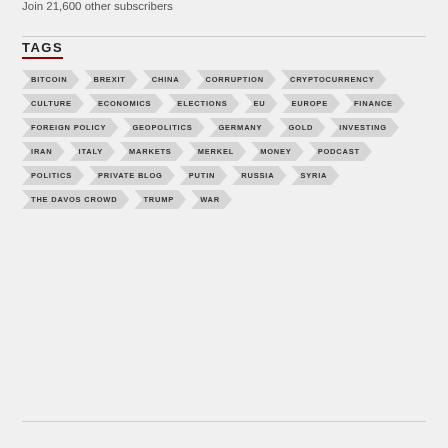Join 21,600 other subscribers
TAGS
BITCOIN
BREXIT
CHINA
CORRUPTION
CRYPTOCURRENCY
CULTURE
ECONOMICS
ELECTIONS
EU
EUROPE
FINANCE
FOREIGN POLICY
GEOPOLITICS
GERMANY
GOLD
INVESTING
IRAN
ITALY
MARKETS
MERKEL
MONEY
PODCAST
POLITICS
PRIVATE BLOG
PUTIN
RUSSIA
SYRIA
THE DAVOS CROWD
TRUMP
WAR